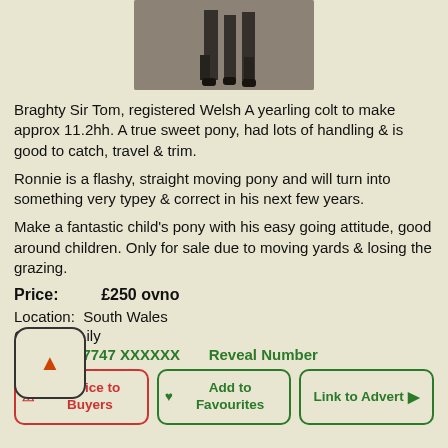[Figure (photo): Partial photo of a horse/pony, showing legs against a dark background, cropped at top]
Braghty Sir Tom, registered Welsh A yearling colt to make approx 11.2hh. A true sweet pony, had lots of handling & is good to catch, travel & trim.
Ronnie is a flashy, straight moving pony and will turn into something very typey & correct in his next few years.
Make a fantastic child's pony with his easy going attitude, good around children. Only for sale due to moving yards & losing the grazing.
Price:      £250 ovno
Location:  South Wales
Contact:   Lily
Phone:   07747 XXXXXX    Reveal Number
⚠ Advice to Buyers   ♥ Add to Favourites   Link to Advert ➔